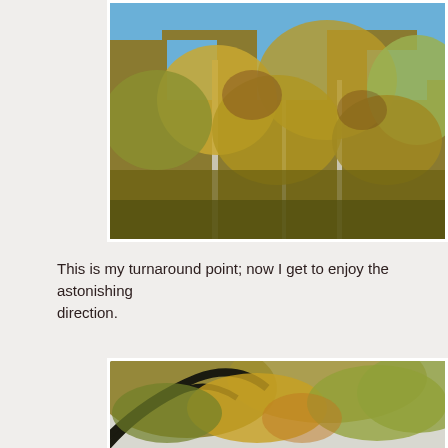[Figure (photo): Looking up into autumn trees with yellow-gold and green foliage against a bright blue sky; birch-like pale trunks visible among dense fall canopy.]
This is my turnaround point; now I get to enjoy the astonishing direction.
[Figure (photo): Autumn forest canopy from below showing yellow, orange, and green leaves on large spreading trees against a pale sky.]